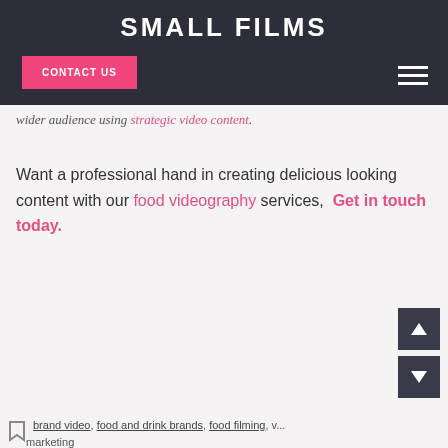SMALL FILMS
CONTACT US
wider audience using strategic video content.
Want a professional hand in creating delicious looking content with our food videography services, Get in touch today.
brand video, food and drink brands, food filming, v... marketing